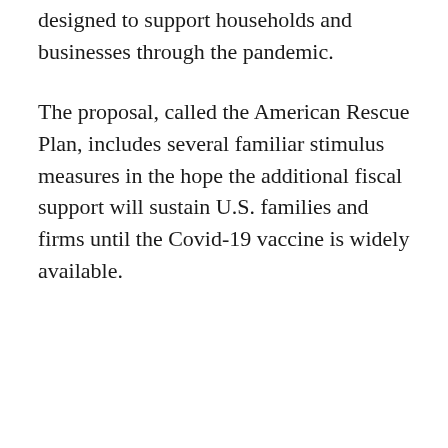designed to support households and businesses through the pandemic.
The proposal, called the American Rescue Plan, includes several familiar stimulus measures in the hope the additional fiscal support will sustain U.S. families and firms until the Covid-19 vaccine is widely available.